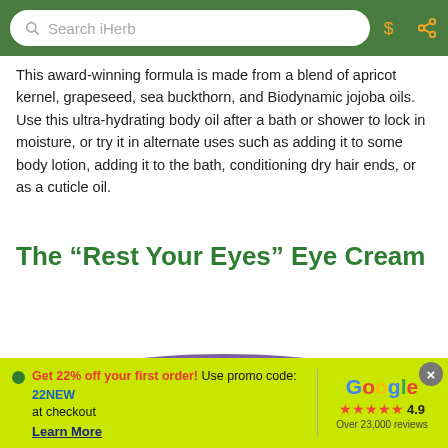Search iHerb
This award-winning formula is made from a blend of apricot kernel, grapeseed, sea buckthorn, and Biodynamic jojoba oils. Use this ultra-hydrating body oil after a bath or shower to lock in moisture, or try it in alternate uses such as adding it to some body lotion, adding it to the bath, conditioning dry hair ends, or as a cuticle oil.
The “Rest Your Eyes” Eye Cream
[Figure (photo): Top portion of a circular product container (purple/green lid), partially visible at the bottom of the content area]
Get 22% off your first order! Use promo code: 22NEW at checkout
Learn More
[Figure (logo): Google logo with star rating: 4.9 stars, Over 23,000 reviews]
Home | Search | Cart (0) | Account